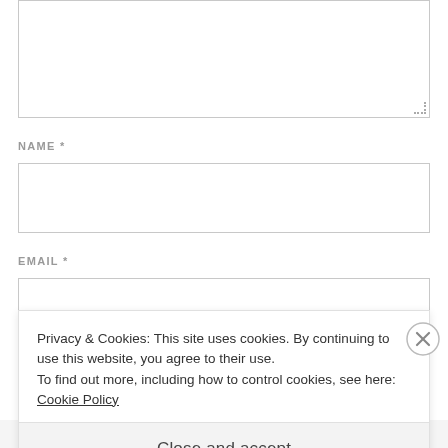[Figure (screenshot): Text area input box (empty), top of a web comment form]
NAME *
[Figure (screenshot): Name input field (empty text box)]
EMAIL *
[Figure (screenshot): Email input field (empty text box)]
Privacy & Cookies: This site uses cookies. By continuing to use this website, you agree to their use.
To find out more, including how to control cookies, see here:
Cookie Policy
Close and accept
[Figure (screenshot): Bottom strip with thumbnail images and text labels]